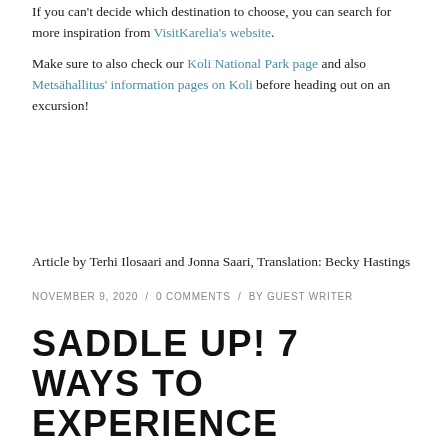If you can't decide which destination to choose, you can search for more inspiration from VisitKarelia's website.
Make sure to also check our Koli National Park page and also Metsähallitus' information pages on Koli before heading out on an excursion!
Article by Terhi Ilosaari and Jonna Saari, Translation: Becky Hastings
NOVEMBER 9, 2020  /  0 COMMENTS  /  BY GUEST WRITER
SADDLE UP! 7 WAYS TO EXPERIENCE NORTH KARELIA